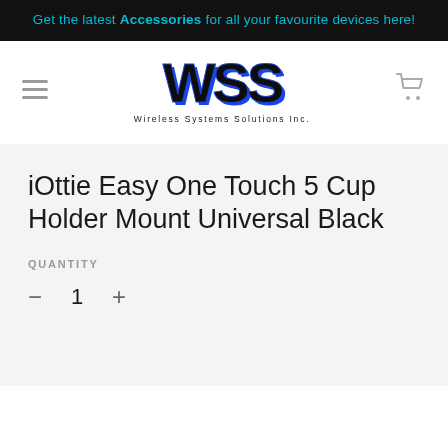Get the latest Accessories for all your favourite devices here!
[Figure (logo): WSS - Wireless Systems Solutions Inc. logo with large bold WSS text and blue shadow effect]
iOttie Easy One Touch 5 Cup Holder Mount Universal Black
QUANTITY
1